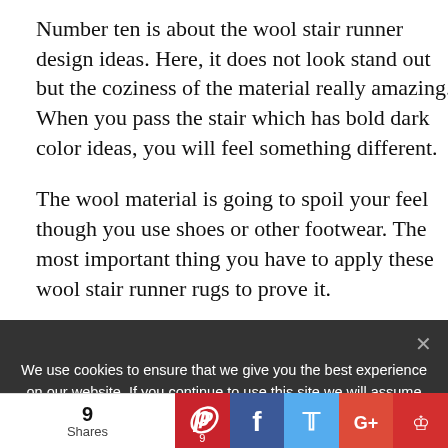Number ten is about the wool stair runner design ideas. Here, it does not look stand out but the coziness of the material really amazing. When you pass the stair which has bold dark color ideas, you will feel something different.
The wool material is going to spoil your feel though you use shoes or other footwear. The most important thing you have to apply these wool stair runner rugs to prove it.
Okay, those are 10 stair carpet ideas that are stealing sight and comfortable. Keep taking one
We use cookies to ensure that we give you the best experience on our website. If you continue to use this site we will assume that you are happy with it.
9 Shares | Pinterest 9 | Facebook | Twitter | Google+ | Email